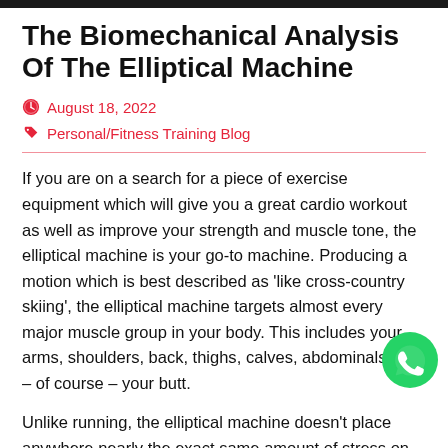The Biomechanical Analysis Of The Elliptical Machine
August 18, 2022
Personal/Fitness Training Blog
If you are on a search for a piece of exercise equipment which will give you a great cardio workout as well as improve your strength and muscle tone, the elliptical machine is your go-to machine. Producing a motion which is best described as ‘like cross-country skiing’, the elliptical machine targets almost every major muscle group in your body. This includes your arms, shoulders, back, thighs, calves, abdominals and – of course – your butt.
Unlike running, the elliptical machine doesn’t place anywhere nearly the exact same amount of stress on your